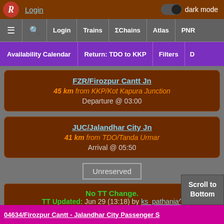Login | dark mode | ≡ 🔍 Login Trains ΣChains Atlas PNR
Availability Calendar | Return: TDO to KKP | Filters | D
FZR/Firozpur Cantt Jn
45 km from KKP/Kot Kapura Junction
Departure @ 03:00
JUC/Jalandhar City Jn
41 km from TDO/Tanda Urmar
Arrival @ 05:50
Unreserved
No TT Change.
TT Updated: Jun 29 (13:18) by ks_pathania^
Scroll to Bottom
04634/Firozpur Cantt - Jalandhar City Passenger S